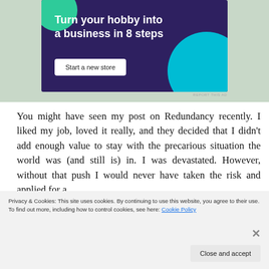[Figure (illustration): Advertisement banner with dark purple background, green and cyan circular accents, text 'Turn your hobby into a business in 8 steps' in bold white, and a 'Start a new store' button.]
REPORT THIS AD
You might have seen my post on Redundancy recently. I liked my job, loved it really, and they decided that I didn't add enough value to stay with the precarious situation the world was (and still is) in. I was devastated. However, without that push I would never have taken the risk and applied for a
Privacy & Cookies: This site uses cookies. By continuing to use this website, you agree to their use.
To find out more, including how to control cookies, see here: Cookie Policy
Close and accept